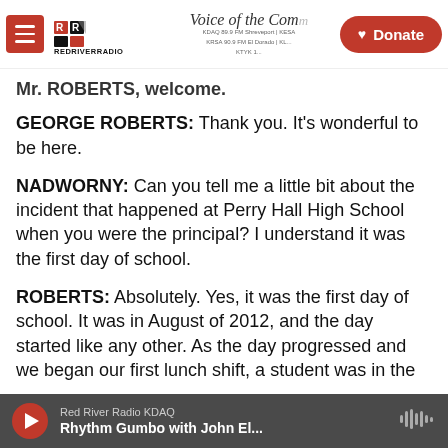Red River Radio — Voice of the Community | KDAQ 89.9 FM Shreveport | Donate button
Mr. ROBERTS, welcome.
GEORGE ROBERTS: Thank you. It's wonderful to be here.
NADWORNY: Can you tell me a little bit about the incident that happened at Perry Hall High School when you were the principal? I understand it was the first day of school.
ROBERTS: Absolutely. Yes, it was the first day of school. It was in August of 2012, and the day started like any other. As the day progressed and we began our first lunch shift, a student was in the
Red River Radio KDAQ | Rhythm Gumbo with John El...